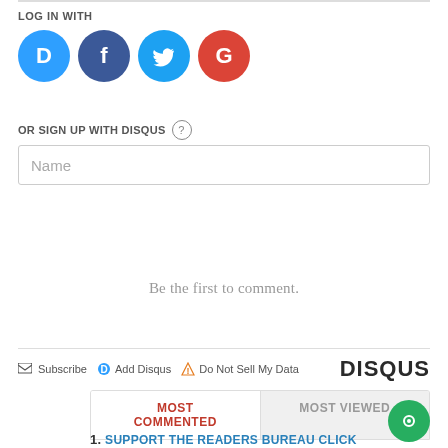LOG IN WITH
[Figure (logo): Four social login icons: Disqus (blue circle with D), Facebook (dark blue circle with f), Twitter (light blue circle with bird), Google (red circle with G)]
OR SIGN UP WITH DISQUS ?
Name
Be the first to comment.
Subscribe  Add Disqus  Do Not Sell My Data    DISQUS
MOST COMMENTED
MOST VIEWED
1. SUPPORT THE READERS BUREAU CLICK ON THE LINKS HERE AND MAKE A